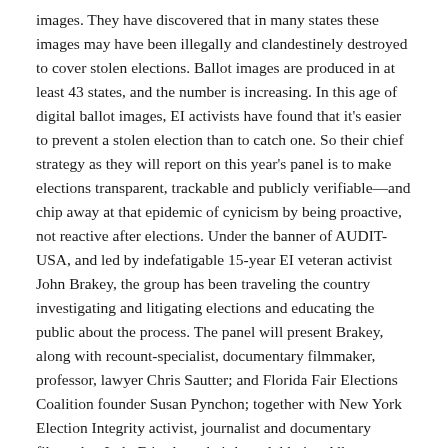images. They have discovered that in many states these images may have been illegally and clandestinely destroyed to cover stolen elections. Ballot images are produced in at least 43 states, and the number is increasing. In this age of digital ballot images, EI activists have found that it's easier to prevent a stolen election than to catch one. So their chief strategy as they will report on this year's panel is to make elections transparent, trackable and publicly verifiable—and chip away at that epidemic of cynicism by being proactive, not reactive after elections. Under the banner of AUDIT-USA, and led by indefatigable 15-year EI veteran activist John Brakey, the group has been traveling the country investigating and litigating elections and educating the public about the process. The panel will present Brakey, along with recount-specialist, documentary filmmaker, professor, lawyer Chris Sautter; and Florida Fair Elections Coalition founder Susan Pynchon; together with New York Election Integrity activist, journalist and documentary filmmaker Lulu Friesdat, who's been lobbying Albany against touch-screen ballots, and who will show a new 5-minute documentary on her work.
Tags: